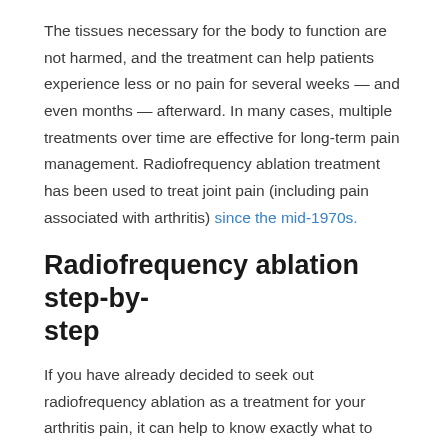The tissues necessary for the body to function are not harmed, and the treatment can help patients experience less or no pain for several weeks — and even months — afterward. In many cases, multiple treatments over time are effective for long-term pain management. Radiofrequency ablation treatment has been used to treat joint pain (including pain associated with arthritis) since the mid-1970s.
Radiofrequency ablation step-by-step
If you have already decided to seek out radiofrequency ablation as a treatment for your arthritis pain, it can help to know exactly what to expect during the procedure. First, Dr. Mallavaram will give you a sedative intravenously. You will be awake for the procedure but relaxed and calm.